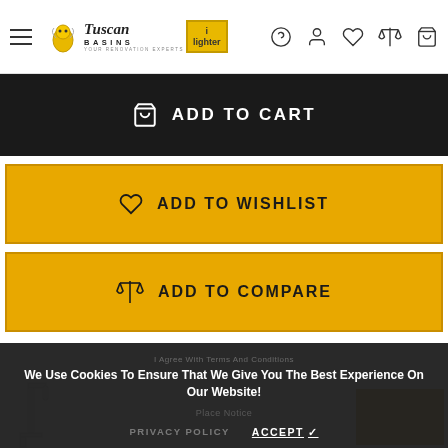[Figure (screenshot): Tuscan Basins e-commerce website header with logo, hamburger menu, and navigation icons (help, user, wishlist, compare, cart)]
ADD TO CART
ADD TO WISHLIST
ADD TO COMPARE
We Use Cookies To Ensure That We Give You The Best Experience On Our Website!
PRIVACY POLICY
ACCEPT ✓
[Figure (photo): Partial view of a white bathroom product (tap/faucet) and a gold/yellow product box at bottom of page]